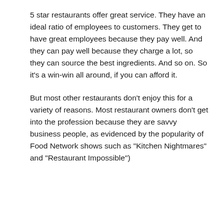5 star restaurants offer great service. They have an ideal ratio of employees to customers. They get to have great employees because they pay well. And they can pay well because they charge a lot, so they can source the best ingredients. And so on. So it's a win-win all around, if you can afford it.
But most other restaurants don't enjoy this for a variety of reasons. Most restaurant owners don't get into the profession because they are savvy business people, as evidenced by the popularity of Food Network shows such as "Kitchen Nightmares" and "Restaurant Impossible")